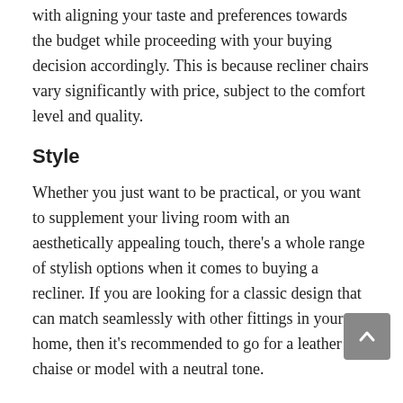Shopping with a price target can greatly help with aligning your taste and preferences towards the budget while proceeding with your buying decision accordingly. This is because recliner chairs vary significantly with price, subject to the comfort level and quality.
Style
Whether you just want to be practical, or you want to supplement your living room with an aesthetically appealing touch, there’s a whole range of stylish options when it comes to buying a recliner. If you are looking for a classic design that can match seamlessly with other fittings in your home, then it’s recommended to go for a leather chaise or model with a neutral tone.